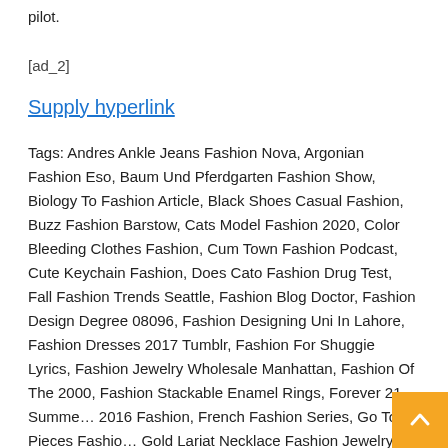pilot.
[ad_2]
Supply hyperlink
Tags: Andres Ankle Jeans Fashion Nova, Argonian Fashion Eso, Baum Und Pferdgarten Fashion Show, Biology To Fashion Article, Black Shoes Casual Fashion, Buzz Fashion Barstow, Cats Model Fashion 2020, Color Bleeding Clothes Fashion, Cum Town Fashion Podcast, Cute Keychain Fashion, Does Cato Fashion Drug Test, Fall Fashion Trends Seattle, Fashion Blog Doctor, Fashion Design Degree 08096, Fashion Designing Uni In Lahore, Fashion Dresses 2017 Tumblr, Fashion For Shuggie Lyrics, Fashion Jewelry Wholesale Manhattan, Fashion Of The 2000, Fashion Stackable Enamel Rings, Forever 21 Summer 2016 Fashion, French Fashion Series, Go To Pieces Fashion, Gold Lariat Necklace Fashion Jewelry, Grossiste Vê¨ment Fashion, High Fashion Using Lines, Inditex Fashion Group Wiki